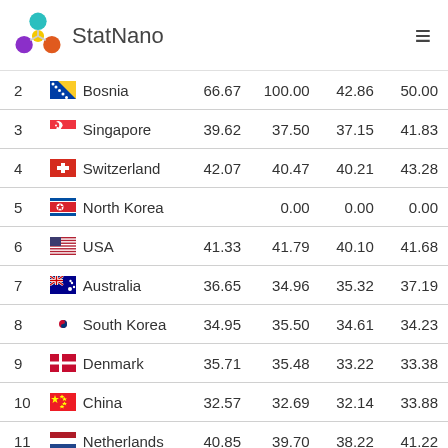StatNano
| # | Country | Col1 | Col2 | Col3 | Col4 |
| --- | --- | --- | --- | --- | --- |
| 2 | Bosnia | 66.67 | 100.00 | 42.86 | 50.00 |
| 3 | Singapore | 39.62 | 37.50 | 37.15 | 41.83 |
| 4 | Switzerland | 42.07 | 40.47 | 40.21 | 43.28 |
| 5 | North Korea |  | 0.00 | 0.00 | 0.00 |
| 6 | USA | 41.33 | 41.79 | 40.10 | 41.68 |
| 7 | Australia | 36.65 | 34.96 | 35.32 | 37.19 |
| 8 | South Korea | 34.95 | 35.50 | 34.61 | 34.23 |
| 9 | Denmark | 35.71 | 35.48 | 33.22 | 33.38 |
| 10 | China | 32.57 | 32.69 | 32.14 | 33.88 |
| 11 | Netherlands | 40.85 | 39.70 | 38.22 | 41.22 |